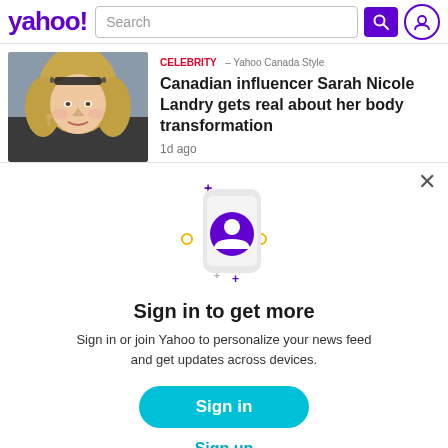yahoo! Search
[Figure (screenshot): Yahoo news article thumbnail: blonde woman with sunglasses on head]
Celebrity – Yahoo Canada Style
Canadian influencer Sarah Nicole Landry gets real about her body transformation
1d ago
[Figure (illustration): Animated phone with user profile icon and sparkle decorations, sign-in modal illustration]
Sign in to get more
Sign in or join Yahoo to personalize your news feed and get updates across devices.
Sign in
Sign up